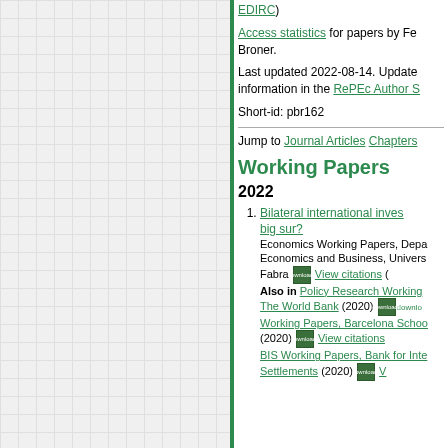(EDIRC)
Access statistics for papers by Fe... Broner.
Last updated 2022-08-14. Update information in the RePEc Author S
Short-id: pbr162
Jump to Journal Articles Chapters
Working Papers
2022
1. Bilateral international invest... big sur? Economics Working Papers, Depa Economics and Business, Univers Fabra [downloads] View citations Also in Policy Research Working... The World Bank (2020) [downloads] Working Papers, Barcelona Schoo (2020) [downloads] View citations BIS Working Papers, Bank for Inte Settlements (2020) [downloads] V